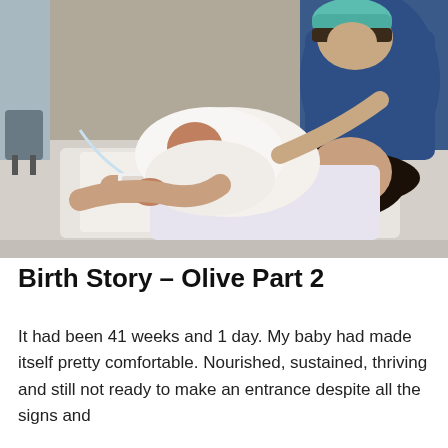[Figure (photo): A mother lying on a hospital bed holding a newborn baby wrapped in a white towel. A person wearing a blue surgical scrub top and teal surgical cap leans in to kiss or nuzzle the baby. Medical equipment and an IV are visible. The scene is in a delivery or operating room.]
Birth Story – Olive Part 2
It had been 41 weeks and 1 day. My baby had made itself pretty comfortable. Nourished, sustained, thriving and still not ready to make an entrance despite all the signs and